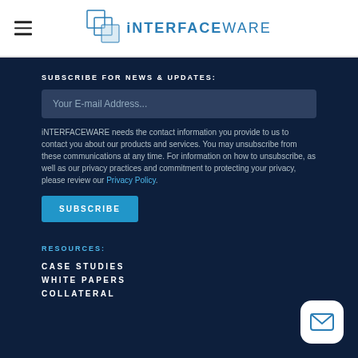[Figure (logo): iNTERFACEWARE logo with hamburger menu icon in white header bar]
SUBSCRIBE FOR NEWS & UPDATES:
Your E-mail Address...
iNTERFACEWARE needs the contact information you provide to us to contact you about our products and services. You may unsubscribe from these communications at any time. For information on how to unsubscribe, as well as our privacy practices and commitment to protecting your privacy, please review our Privacy Policy.
SUBSCRIBE
RESOURCES:
CASE STUDIES
WHITE PAPERS
COLLATERAL
[Figure (illustration): White rounded square button with envelope/mail icon]